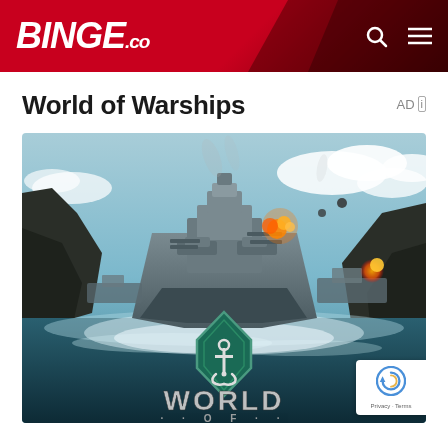BINGE .co
World of Warships
AD
[Figure (photo): World of Warships game advertisement image showing a large battleship firing cannons amid explosions and ocean waves, with the World of Warships logo and anchor emblem overlaid at the bottom center. A reCAPTCHA badge is visible in the bottom right corner with Privacy · Terms text.]